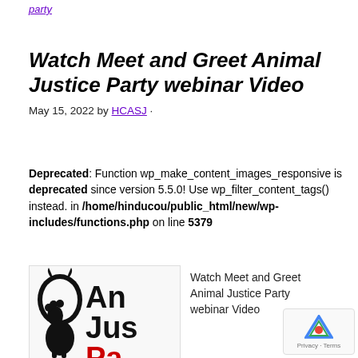party
Watch Meet and Greet Animal Justice Party webinar Video
May 15, 2022 by HCASJ ·
Deprecated: Function wp_make_content_images_responsive is deprecated since version 5.5.0! Use wp_filter_content_tags() instead. in /home/hinducou/public_html/new/wp-includes/functions.php on line 5379
[Figure (illustration): Partial Animal Justice Party logo showing stylized animal figures and text 'An Jus Pa' in black and red]
Watch Meet and Greet Animal Justice Party webinar Video